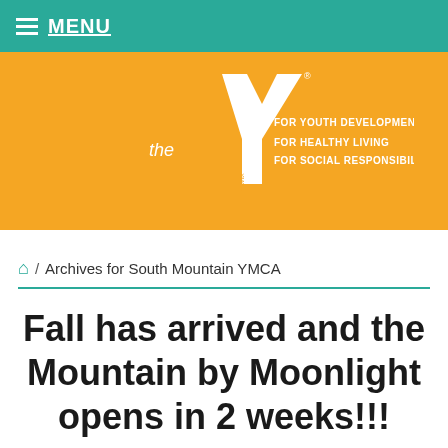MENU
[Figure (logo): YMCA logo on orange background with taglines: FOR YOUTH DEVELOPMENT, FOR HEALTHY LIVING, FOR SOCIAL RESPONSIBILITY]
/ Archives for South Mountain YMCA
Fall has arrived and the Mountain by Moonlight opens in 2 weeks!!!